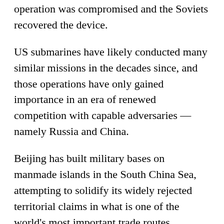operation was compromised and the Soviets recovered the device.
US submarines have likely conducted many similar missions in the decades since, and those operations have only gained importance in an era of renewed competition with capable adversaries — namely Russia and China.
Beijing has built military bases on manmade islands in the South China Sea, attempting to solidify its widely rejected territorial claims in what is one of the world's most important trade routes.